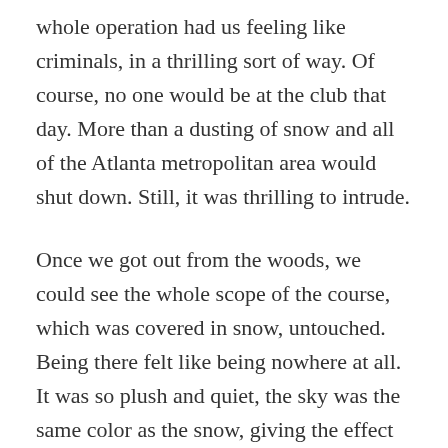whole operation had us feeling like criminals, in a thrilling sort of way. Of course, no one would be at the club that day. More than a dusting of snow and all of the Atlanta metropolitan area would shut down. Still, it was thrilling to intrude.
Once we got out from the woods, we could see the whole scope of the course, which was covered in snow, untouched. Being there felt like being nowhere at all. It was so plush and quiet, the sky was the same color as the snow, giving the effect of a dome. Our footprints were the only mark indicating our presence. Even then, it only